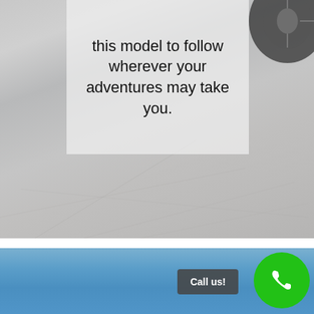[Figure (photo): Photo of a vehicle tyre and concrete pavement ground surface, with a semi-transparent white overlay box containing bold text: 'this model to follow wherever your adventures may take you.']
this model to follow wherever your adventures may take you.
[Figure (photo): Photo of a blue sky gradient background with a dark grey 'Call us!' button and a green circular phone icon button in the bottom right.]
Call us!